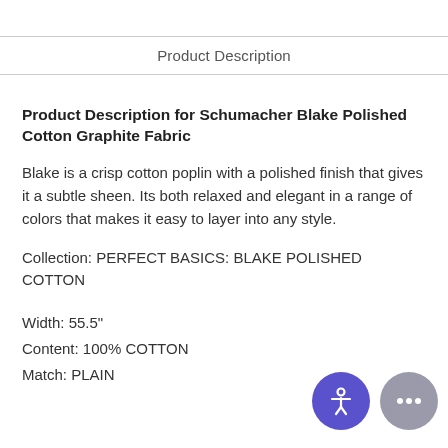Product Description
Product Description for Schumacher Blake Polished Cotton Graphite Fabric
Blake is a crisp cotton poplin with a polished finish that gives it a subtle sheen. Its both relaxed and elegant in a range of colors that makes it easy to layer into any style.
Collection: PERFECT BASICS: BLAKE POLISHED COTTON
Width: 55.5"
Content: 100% COTTON
Match: PLAIN